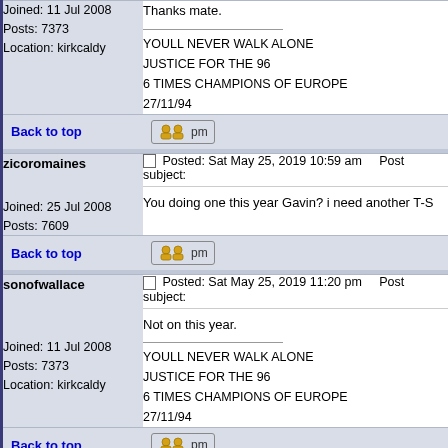Joined: 11 Jul 2008
Posts: 7373
Location: kirkcaldy
Thanks mate.

YOULL NEVER WALK ALONE
JUSTICE FOR THE 96
6 TIMES CHAMPIONS OF EUROPE
27/11/94
Back to top
zicoromaines

Joined: 25 Jul 2008
Posts: 7609
Posted: Sat May 25, 2019 10:59 am   Post subject:

You doing one this year Gavin? i need another T-S
Back to top
sonofwallace

Joined: 11 Jul 2008
Posts: 7373
Location: kirkcaldy
Posted: Sat May 25, 2019 11:20 pm   Post subject:

Not on this year.

YOULL NEVER WALK ALONE
JUSTICE FOR THE 96
6 TIMES CHAMPIONS OF EUROPE
27/11/94